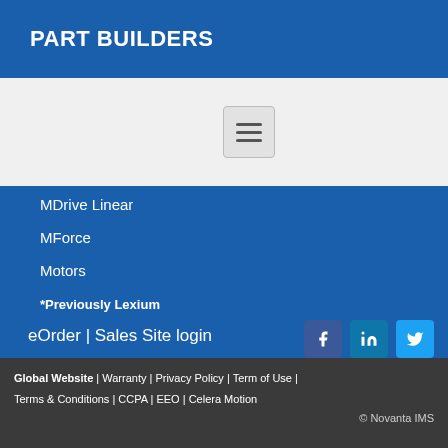PART BUILDERS
[Figure (other): Hamburger menu icon button (three horizontal bars in a rounded box)]
MDrive Linear
MForce
Motors
*Previously Lexium
eOrder  |  Sales Site login
Global Website  |  Warranty  |  Privacy Policy  |  Term of Use  |  Terms & Conditions  |  CCPA  |  EEO  |  Celera Motion
© Novanta IMS